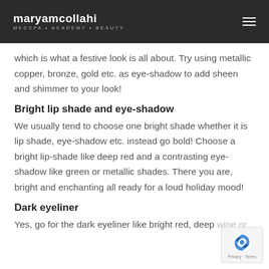maryamcollahi MEDSPA • ACADEMY • BEAUTY
which is what a festive look is all about. Try using metallic copper, bronze, gold etc. as eye-shadow to add sheen and shimmer to your look!
Bright lip shade and eye-shadow
We usually tend to choose one bright shade whether it is lip shade, eye-shadow etc. instead go bold! Choose a bright lip-shade like deep red and a contrasting eye-shadow like green or metallic shades. There you are, bright and enchanting all ready for a loud holiday mood!
Dark eyeliner
Yes, go for the dark eyeliner like bright red, deep wine or